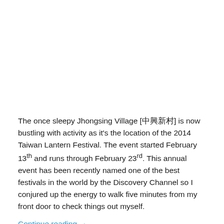The once sleepy Jhongsing Village [中興新村] is now bustling with activity as it's the location of the 2014 Taiwan Lantern Festival. The event started February 13th and runs through February 23rd. This annual event has been recently named one of the best festivals in the world by the Discovery Channel so I conjured up the energy to walk five minutes from my front door to check things out myself.
Continue reading →